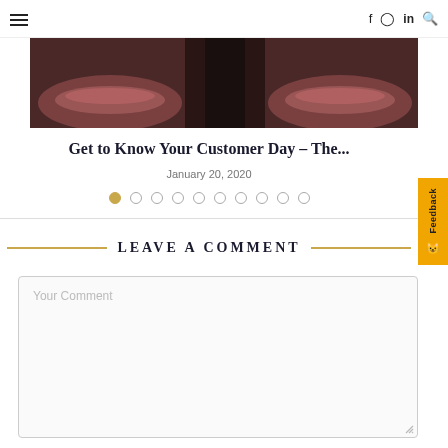≡   f  in  🔍
[Figure (photo): Close-up photo of lips of two people facing each other, dark/moody background]
Get to Know Your Customer Day – The...
January 20, 2020
[Figure (other): Carousel navigation dots, first dot active (gold), nine more empty dots]
LEAVE A COMMENT
Your Comment